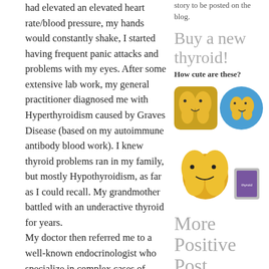had elevated an elevated heart rate/blood pressure, my hands would constantly shake, I started having frequent panic attacks and problems with my eyes. After some extensive lab work, my general practitioner diagnosed me with Hyperthyroidism caused by Graves Disease (based on my autoimmune antibody blood work). I knew thyroid problems ran in my family, but mostly Hypothyroidism, as far as I could recall. My grandmother battled with an underactive thyroid for years.
My doctor then referred me to a well-known endocrinologist who specialize in complex cases of Graves Disease. My case was considered complex as I had an unusually high antibody count and a huge goiter that sometimes had the tendency to choke me. The right side of my thyroid was like three times the
story to be posted on the blog.
Buy a new thyroid!
How cute are these?
[Figure (photo): Two thyroid-shaped items: a yellow/gold enamel pin shaped like a thyroid gland, and a round blue badge/button with a yellow thyroid illustration]
[Figure (photo): A yellow plush toy shaped like a thyroid gland with a smiling face, next to a small item in background]
More Positive Post Thyroidecto